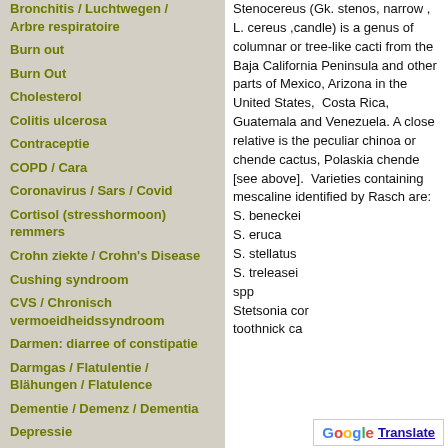Bronchitis / Luchtwegen / Arbre respiratoire
Burn out
Burn Out
Cholesterol
Colitis ulcerosa
Contraceptie
COPD / Cara
Coronavirus / Sars / Covid
Cortisol (stresshormoon) remmers
Crohn ziekte / Crohn's Disease
Cushing syndroom
CVS / Chronisch vermoeidheidssyndroom
Darmen: diarree of constipatie
Darmgas / Flatulentie / Blähungen / Flatulence
Dementie / Demenz / Dementia
Depressie
Depressie winter / Dépression
Stenocereus (Gk. stenos, narrow , L. cereus ,candle) is a genus of columnar or tree-like cacti from the Baja California Peninsula and other parts of Mexico, Arizona in the United States, Costa Rica, Guatemala and Venezuela. A close relative is the peculiar chinoa or chende cactus, Polaskia chende [see above]. Varieties containing mescaline identified by Rasch are: S. beneckei S. eruca S. stellatus S. treleasei spp Stetsonia cor toothnick ca